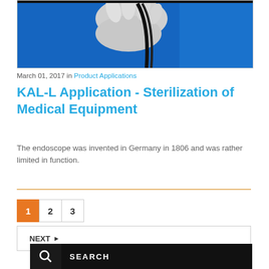[Figure (photo): Close-up photo of a gloved hand holding a medical endoscope cable, person wearing blue scrubs in background]
March 01, 2017 in Product Applications
KAL-L Application - Sterilization of Medical Equipment
The endoscope was invented in Germany in 1806 and was rather limited in function.
1 2 3
NEXT ▶
SEARCH